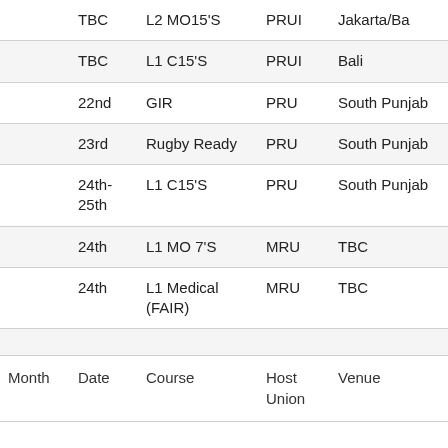| Month | Date | Course | Host Union | Venue |
| --- | --- | --- | --- | --- |
|  | TBC | L2 MO15'S | PRUI | Jakarta/Ba... |
|  | TBC | L1 C15'S | PRUI | Bali |
|  | 22nd | GIR | PRU | South Punjab |
|  | 23rd | Rugby Ready | PRU | South Punjab |
|  | 24th-25th | L1 C15'S | PRU | South Punjab |
|  | 24th | L1 MO 7'S | MRU | TBC |
|  | 24th | L1 Medical (FAIR) | MRU | TBC |
|  |  |  |  |  |
| Month | Date | Course | Host Union | Venue |